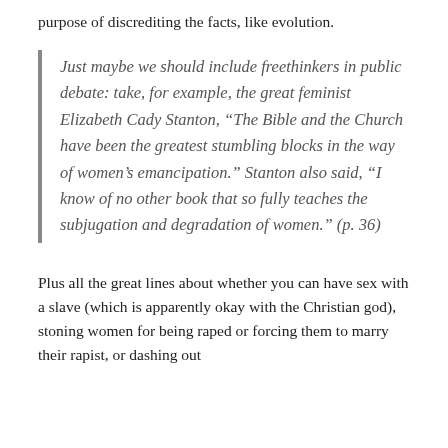purpose of discrediting the facts, like evolution.
Just maybe we should include freethinkers in public debate: take, for example, the great feminist Elizabeth Cady Stanton, “The Bible and the Church have been the greatest stumbling blocks in the way of women’s emancipation.” Stanton also said, “I know of no other book that so fully teaches the subjugation and degradation of women.” (p. 36)
Plus all the great lines about whether you can have sex with a slave (which is apparently okay with the Christian god), stoning women for being raped or forcing them to marry their rapist, or dashing out